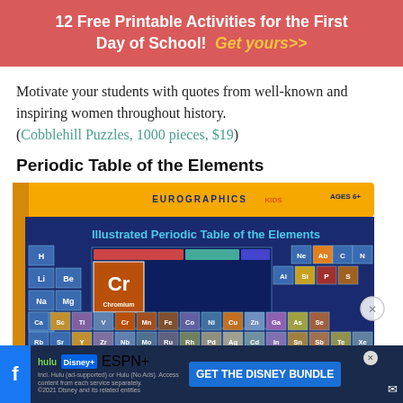12 Free Printable Activities for the First Day of School! Get yours>>
Motivate your students with quotes from well-known and inspiring women throughout history. (Cobblehill Puzzles, 1000 pieces, $19)
Periodic Table of the Elements
[Figure (photo): Box of Eurographics Kids Illustrated Periodic Table of the Elements puzzle, Ages 6+, showing the colorful periodic table on the box sides]
[Figure (infographic): Bottom advertisement banner for Disney Bundle featuring Hulu, Disney+, ESPN+ logos with 'GET THE DISNEY BUNDLE' button and fine print about Hulu ad-supported or no ads options. Includes Facebook icon on left and close/mail icons.]